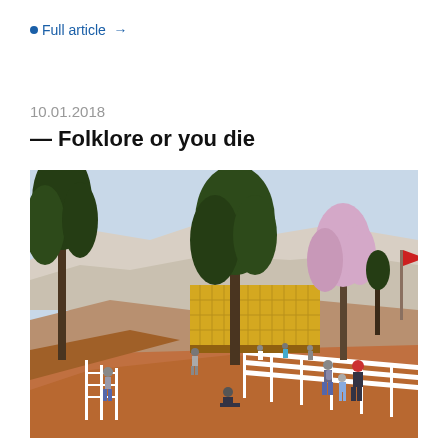Full article →
10.01.2018
— Folklore or you die
[Figure (photo): Architectural rendering of a public space with a yellow grid-facade building in the background, tall pine trees, white railing walkways, and people walking on reddish-brown ground in a hillside landscape.]